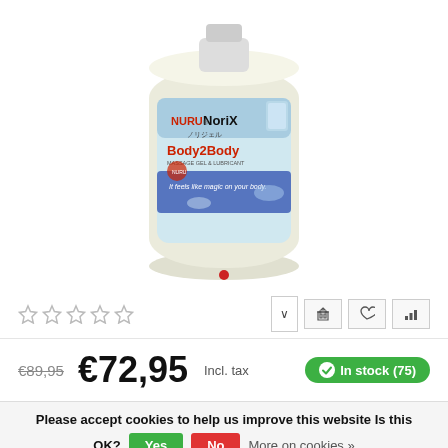[Figure (photo): Large white plastic bottle/jug of Nuru NoriX Body2Body massage gel and lubricant, with a branded label showing a person and product imagery. A red dot indicator appears below the image.]
★ ★ ★ ★ ★
€89,95  €72,95  Incl. tax    In stock (75)
Please accept cookies to help us improve this website Is this OK?  Yes  No  More on cookies »